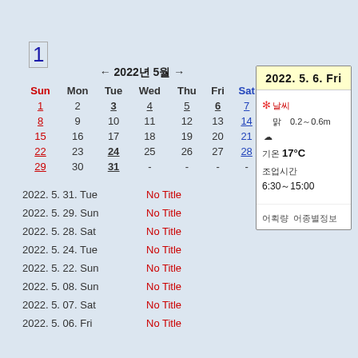1
← 2022年 5月 →
| Sun | Mon | Tue | Wed | Thu | Fri | Sat |
| --- | --- | --- | --- | --- | --- | --- |
| 1 | 2 | 3 | 4 | 5 | 6 | 7 |
| 8 | 9 | 10 | 11 | 12 | 13 | 14 |
| 15 | 16 | 17 | 18 | 19 | 20 | 21 |
| 22 | 23 | 24 | 25 | 26 | 27 | 28 |
| 29 | 30 | 31 | - | - | - | - |
2022. 5. 31. Tue   No Title
2022. 5. 29. Sun   No Title
2022. 5. 28. Sat   No Title
2022. 5. 24. Tue   No Title
2022. 5. 22. Sun   No Title
2022. 5. 08. Sun   No Title
2022. 5. 07. Sat   No Title
2022. 5. 06. Fri   No Title
2022. 5. 6. Fri
☀️날씨　맑　0.2～0.6m　☁
기온　17°C
조업시간　6:30～15:00
어획량　어종별정보